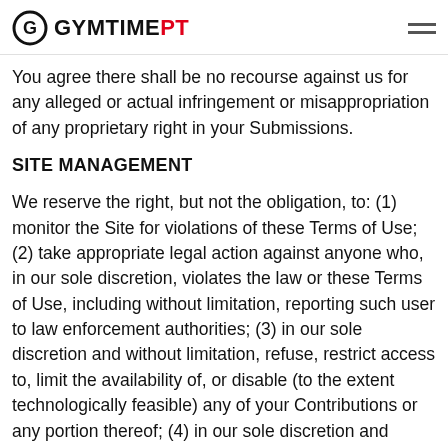GYMTIME PT
You agree there shall be no recourse against us for any alleged or actual infringement or misappropriation of any proprietary right in your Submissions.
SITE MANAGEMENT
We reserve the right, but not the obligation, to: (1) monitor the Site for violations of these Terms of Use; (2) take appropriate legal action against anyone who, in our sole discretion, violates the law or these Terms of Use, including without limitation, reporting such user to law enforcement authorities; (3) in our sole discretion and without limitation, refuse, restrict access to, limit the availability of, or disable (to the extent technologically feasible) any of your Contributions or any portion thereof; (4) in our sole discretion and without limitation, notice, or liability, to